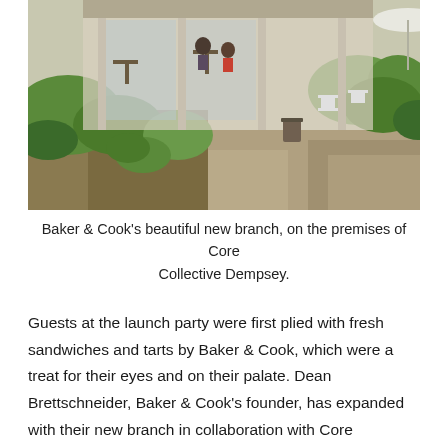[Figure (photo): Outdoor cafe seating area at Baker & Cook's new branch at Core Collective Dempsey. Shows open-air dining with tables, chairs, lush tropical greenery and trees, glass-walled interior visible in the background.]
Baker & Cook's beautiful new branch, on the premises of Core Collective Dempsey.
Guests at the launch party were first plied with fresh sandwiches and tarts by Baker & Cook, which were a treat for their eyes and on their palate. Dean Brettschneider, Baker & Cook's founder, has expanded with their new branch in collaboration with Core Collective Dempsey. He was one of several key partners who were present at the launch, along with SWISH! Swim School founder Kristen Romain, Jasmine Chong and Betty Kong from Yoga Lab. All were quick to share